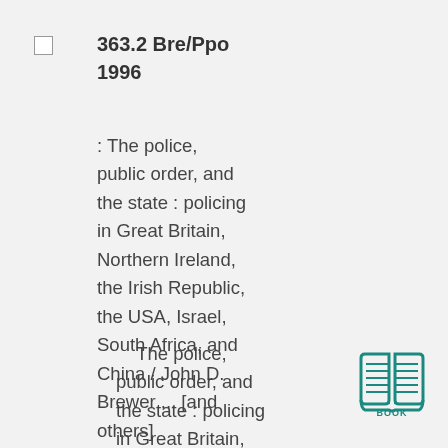363.2 Bre/Ppo 1996
: The police, public order, and the state : policing in Great Britain, Northern Ireland, the Irish Republic, the USA, Israel, South Africa, and China / John D. Brewer ... [and others]
The police, public order, and the state : policing in Great Britain,
[Figure (illustration): Teal/green book icon with lines representing pages, labeled BOOK underneath]